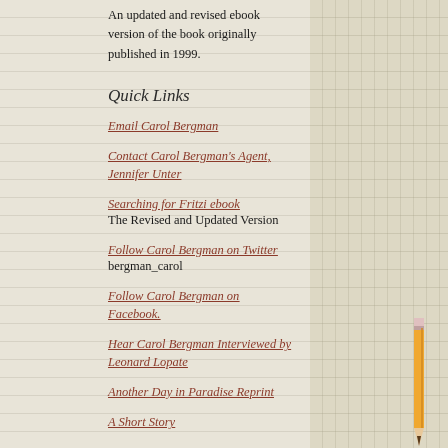An updated and revised ebook version of the book originally published in 1999.
Quick Links
Email Carol Bergman
Contact Carol Bergman’s Agent, Jennifer Unter
Searching for Fritzi ebook
The Revised and Updated Version
Follow Carol Bergman on Twitter
bergman_carol
Follow Carol Bergman on Facebook.
Hear Carol Bergman Interviewed by Leonard Lopate
Another Day in Paradise Reprint
A Short Story